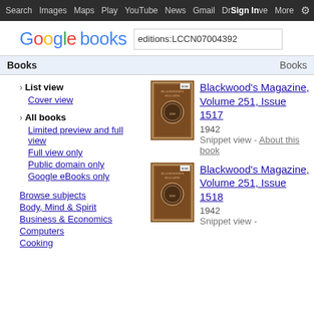Search  Images  Maps  Play  YouTube  News  Gmail  Drive  Sign in  More  ⚙
[Figure (logo): Google books logo with search box containing 'editions:LCCN07004392']
Books   Books
› List view
Cover view
› All books
Limited preview and full view
Full view only
Public domain only
Google eBooks only
Browse subjects
Body, Mind & Spirit
Business & Economics
Computers
Cooking
[Figure (photo): Book cover of Blackwood's Magazine, Volume 251, Issue 1517 - brown antique cover]
Blackwood's Magazine, Volume 251, Issue 1517
1942
Snippet view - About this book
[Figure (photo): Book cover of Blackwood's Magazine, Volume 251, Issue 1518 - brown antique cover]
Blackwood's Magazine, Volume 251, Issue 1518
1942
Snippet view -